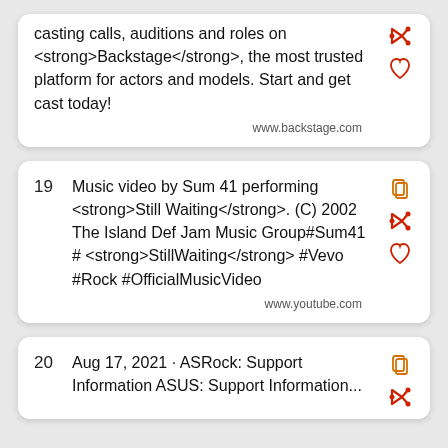casting calls, auditions and roles on <strong>Backstage</strong>, the most trusted platform for actors and models. Start and get cast today!
www.backstage.com
19  Music video by Sum 41 performing <strong>Still Waiting</strong>. (C) 2002 The Island Def Jam Music Group#Sum41 # <strong>StillWaiting</strong> #Vevo #Rock #OfficialMusicVideo
www.youtube.com
20  Aug 17, 2021 · ASRock: Support Information ASUS: Support Information...